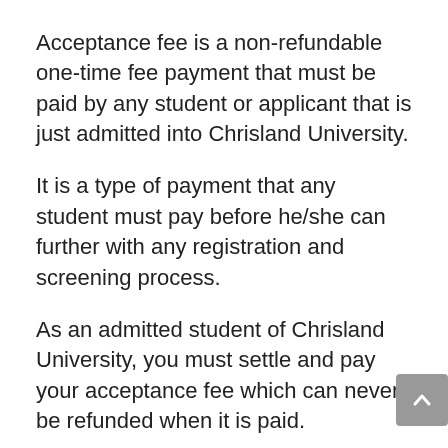Acceptance fee is a non-refundable one-time fee payment that must be paid by any student or applicant that is just admitted into Chrisland University.
It is a type of payment that any student must pay before he/she can further with any registration and screening process.
As an admitted student of Chrisland University, you must settle and pay your acceptance fee which can never be refunded when it is paid.